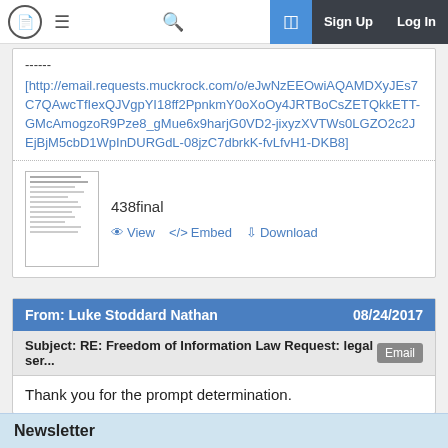MuckRock navigation bar with logo, menu, search, Sign Up, Log In
------
[http://email.requests.muckrock.com/o/eJwNzEEOwiAQAMDXyJEs7C7QAwcTfIexQJVgpYI18ff2PpnkmY0oXoOy4JRTBoCsZETQkkETT-GMcAmogzoR9Pze8_gMue6x9harjG0VD2-jixyzXVTWs0LGZO2c2JEjBjM5cbD1WpInDURGdL-08jzC7dbrkK-fvLfvH1-DKB8]
[Figure (other): Thumbnail preview of document 438final]
438final
View   Embed   Download
From: Luke Stoddard Nathan   08/24/2017
Subject: RE: Freedom of Information Law Request: legal ser...   Email
Thank you for the prompt determination.
Newsletter